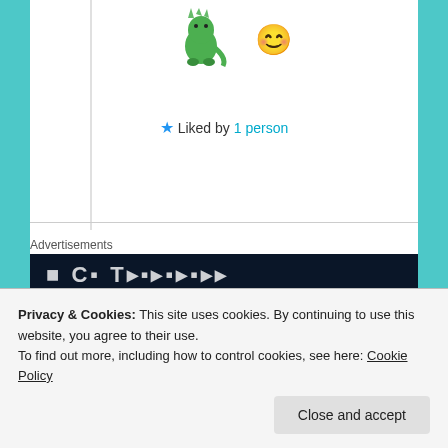[Figure (illustration): Green dinosaur/dragon emoji and a yellow smiley face emoji]
★ Liked by 1 person
Advertisements
[Figure (screenshot): Dark advertisement banner with white text]
OLIVIA BATT   August 22, 2016 at 1:05 am   LOG IN TO REPLY
[Figure (photo): User avatar thumbnail]
Privacy & Cookies: This site uses cookies. By continuing to use this website, you agree to their use.
To find out more, including how to control cookies, see here: Cookie Policy
Close and accept